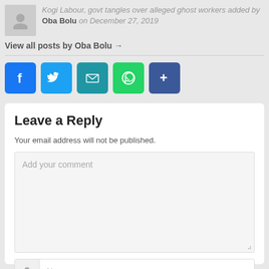Kogi Labour, govt tangles over alleged ghost workers added by Oba Bolu on December 27, 2019
View all posts by Oba Bolu →
[Figure (screenshot): Social media share buttons: Facebook, Twitter, Email, WhatsApp, and a share/more button]
Leave a Reply
Your email address will not be published.
Add your comment
Name